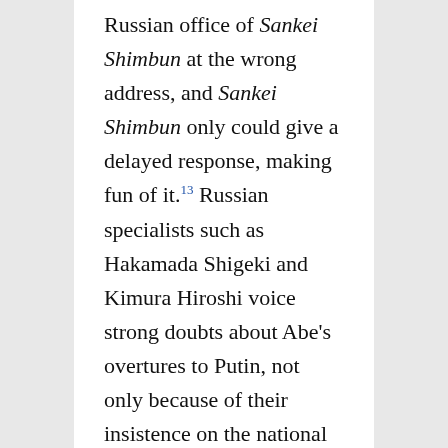Russian office of Sankei Shimbun at the wrong address, and Sankei Shimbun only could give a delayed response, making fun of it.¹³ Russian specialists such as Hakamada Shigeki and Kimura Hiroshi voice strong doubts about Abe's overtures to Putin, not only because of their insistence on the national identity